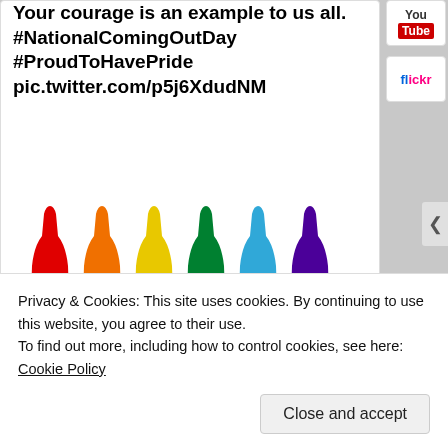Your courage is an example to us all. #NationalComingOutDay #ProudToHavePride pic.twitter.com/p5j6XdudNM
[Figure (illustration): Six Coca-Cola bottle silhouettes in rainbow colors: red, orange, yellow, green, blue, purple — each with the Coca-Cola script logo in white]
Tweet to @CocaCola
Privacy & Cookies: This site uses cookies. By continuing to use this website, you agree to their use.
To find out more, including how to control cookies, see here: Cookie Policy